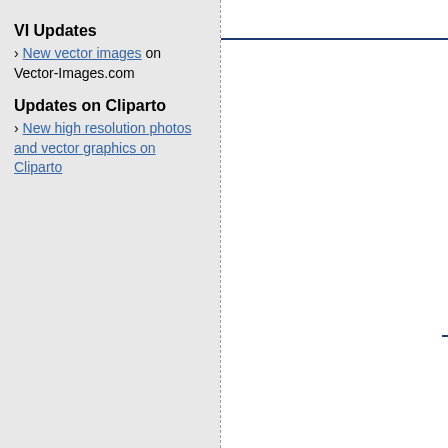VI Updates
› New vector images on Vector-Images.com
Updates on Cliparto
› New high resolution photos and vector graphics on Cliparto
ID: C968009
ID: C870769
captain hat
non-vinyl [$3.95]
Fisherman ship captain at wheel or helm
non-vinyl [$3.95]
ID: C1436934
ID: C2199333